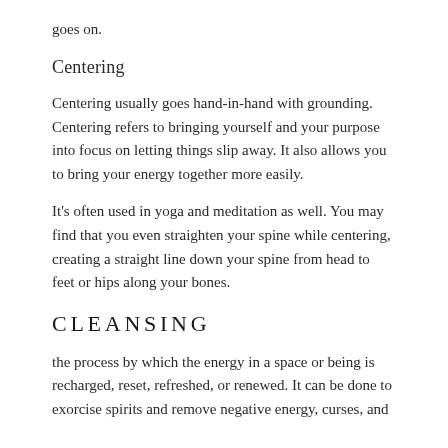goes on.
Centering
Centering usually goes hand-in-hand with grounding. Centering refers to bringing yourself and your purpose into focus on letting things slip away. It also allows you to bring your energy together more easily.
It's often used in yoga and meditation as well. You may find that you even straighten your spine while centering, creating a straight line down your spine from head to feet or hips along your bones.
CLEANSING
the process by which the energy in a space or being is recharged, reset, refreshed, or renewed. It can be done to exorcise spirits and remove negative energy, curses, and